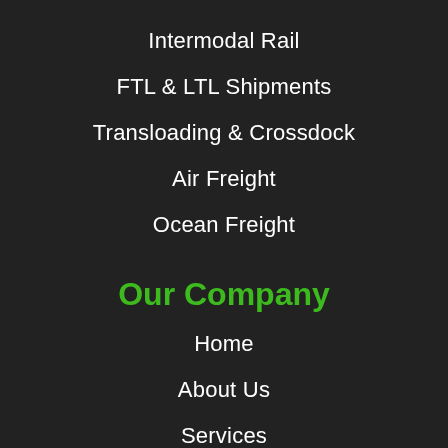Intermodal Rail
FTL & LTL Shipments
Transloading & Crossdock
Air Freight
Ocean Freight
Our Company
Home
About Us
Services